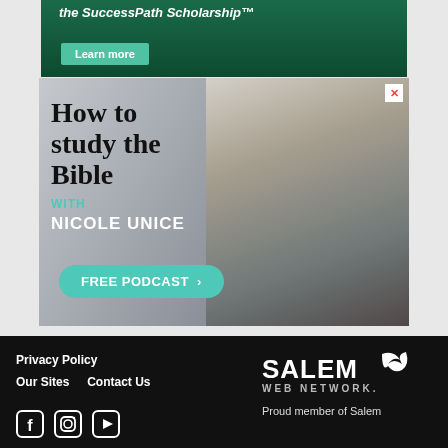[Figure (screenshot): Top partial advertisement banner with green background showing 'the SuccessPath Scholarship' text and a 'Learn more' button]
[Figure (photo): Advertisement for 'How to study the Bible with Nicole Unice - FREE PODCAST' featuring a smiling blonde woman in a dark blazer, with a teal button and close X button]
Privacy Policy
Our Sites   Contact Us
Proud member of Salem
[Figure (logo): Salem Web Network logo in white text on black background]
[Figure (logo): Facebook, Instagram, and YouTube social media icons in white outline style]